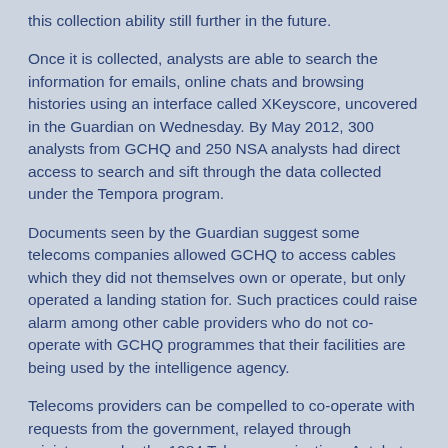this collection ability still further in the future.
Once it is collected, analysts are able to search the information for emails, online chats and browsing histories using an interface called XKeyscore, uncovered in the Guardian on Wednesday. By May 2012, 300 analysts from GCHQ and 250 NSA analysts had direct access to search and sift through the data collected under the Tempora program.
Documents seen by the Guardian suggest some telecoms companies allowed GCHQ to access cables which they did not themselves own or operate, but only operated a landing station for. Such practices could raise alarm among other cable providers who do not co-operate with GCHQ programmes that their facilities are being used by the intelligence agency.
Telecoms providers can be compelled to co-operate with requests from the government, relayed through ministers, under the 1984 Telecommunications Act, but privacy advocates have raised concerns that the firms are not doing enough to challenge orders enabling large-scale surveillance, or are co-operating to a degree beyond that required by law.
“We urgently need clarity on how close the relationship is